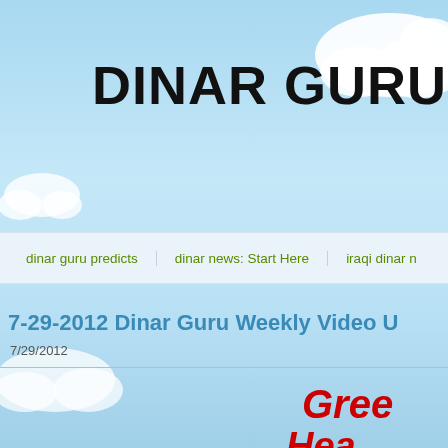DINAR GURU
dinar guru predicts | dinar news: Start Here | iraqi dinar n
7-29-2012 Dinar Guru Weekly Video U
7/29/2012
Gree
Hea
Inside this w
Ram
CBI
Sho